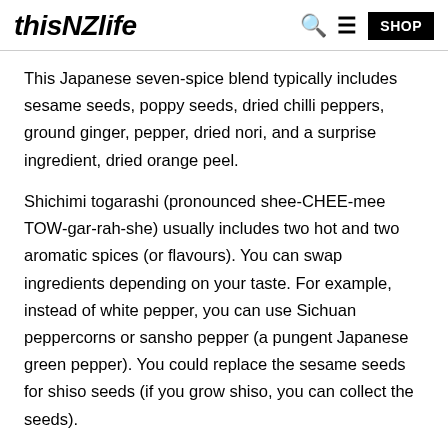thisNZlife
This Japanese seven-spice blend typically includes sesame seeds, poppy seeds, dried chilli peppers, ground ginger, pepper, dried nori, and a surprise ingredient, dried orange peel.
Shichimi togarashi (pronounced shee-CHEE-mee TOW-gar-rah-she) usually includes two hot and two aromatic spices (or flavours). You can swap ingredients depending on your taste. For example, instead of white pepper, you can use Sichuan peppercorns or sansho pepper (a pungent Japanese green pepper). You could replace the sesame seeds for shiso seeds (if you grow shiso, you can collect the seeds).